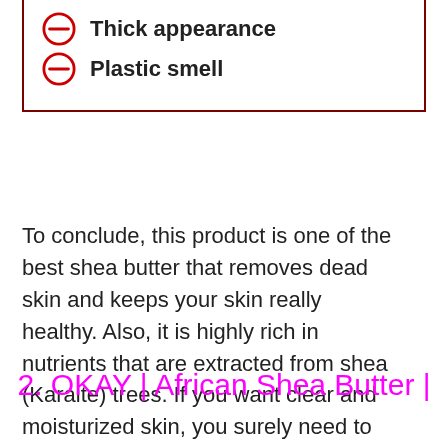Thick appearance
Plastic smell
To conclude, this product is one of the best shea butter that removes dead skin and keeps your skin really healthy. Also, it is highly rich in nutrients that are extracted from shea (Karaite) trees. If you want clear and moisturized skin, you surely need to buy this product.
2. OKAY | African Shea Butter |